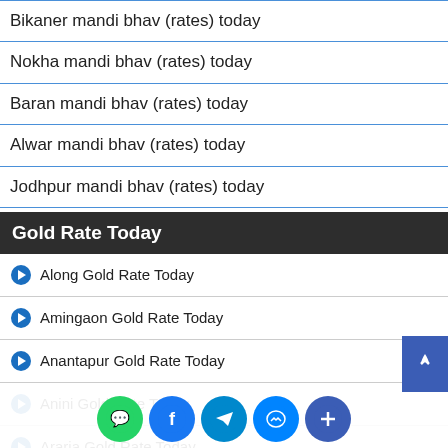Bikaner mandi bhav (rates) today
Nokha mandi bhav (rates) today
Baran mandi bhav (rates) today
Alwar mandi bhav (rates) today
Jodhpur mandi bhav (rates) today
Gold Rate Today
Along Gold Rate Today
Amingaon Gold Rate Today
Anantapur Gold Rate Today
Anini Gold Rate Today
Araria Gold Rate Today
Arrah Gold Rate Today